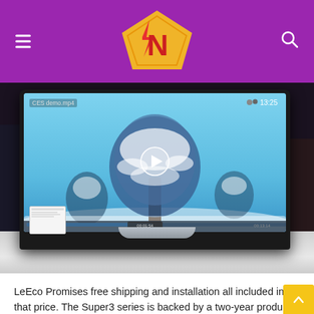[Figure (screenshot): Website header with purple background, hamburger menu icon on left, stylized yellow and red 'N' superhero logo in center, and search icon on right]
[Figure (photo): A LeEco Smart TV on display at CES, showing a video player with a snowy tree scene on screen labeled 'CES demo.mp4' with timestamp 13:25, and a play button overlay]
LeEco Promises free shipping and installation all included in that price. The Super3 series is backed by a two-year produ